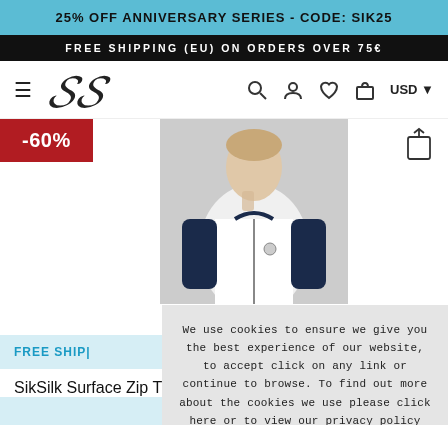25% OFF ANNIVERSARY SERIES - CODE: SIK25
FREE SHIPPING (EU) ON ORDERS OVER 75€
[Figure (logo): SikSilk cursive monogram logo SS in black]
-60%
[Figure (photo): Male model wearing a white and navy SikSilk surface zip track top]
FREE SHIPPING
SikSilk Surface Zip T
We use cookies to ensure we give you the best experience of our website, to accept click on any link or continue to browse. To find out more about the cookies we use please click here or to view our privacy policy click here
I AGREE